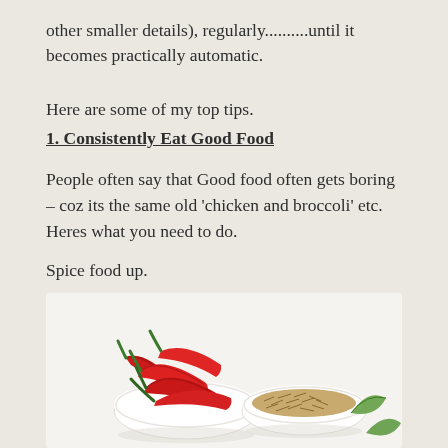other smaller details), regularly..........until it becomes practically automatic.
Here are some of my top tips.
1. Consistently Eat Good Food
People often say that Good food often gets boring – coz its the same old 'chicken and broccoli' etc.   Heres what you need to do.
Spice food up.
[Figure (photo): A photo of red chili peppers in a white bowl and cumin seeds in a white bowl, against a light background, with a green leaf visible at the right.]